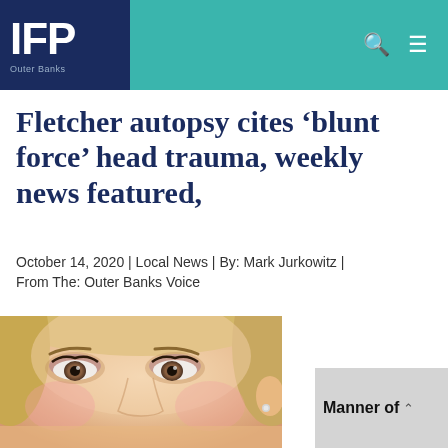IFP
Fletcher autopsy cites ‘blunt force’ head trauma, weekly news featured,
October 14, 2020 | Local News | By: Mark Jurkowitz | From The: Outer Banks Voice
[Figure (photo): Close-up photo of a blonde woman’s face]
Manner of